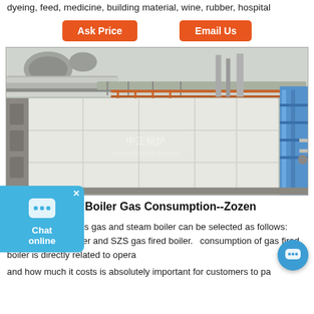dyeing, feed, medicine, building material, wine, rubber, hospital
Ask Price   Email Us
[Figure (photo): Large industrial gas steam boiler unit installed in a factory, white insulated panels, industrial piping and scaffolding visible overhead and on right side.]
on Gas Steam Boiler Gas Consumption--Zozen
9-4-26 · The 8 tons gas and steam boiler can be selected as follows: WNS gas fired boiler and SZS gas fired boiler. consumption of gas fired boiler is directly related to opera and how much it costs is absolutely important for customers to pa